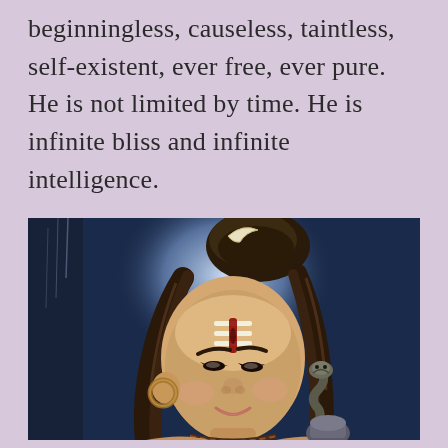beginningless, causeless, taintless, self-existent, ever free, ever pure. He is not limited by time. He is infinite bliss and infinite intelligence.
[Figure (illustration): A devotional illustration of Lord Shiva, depicted with matted hair adorned with a crescent moon ornament, tilaka marks on the forehead, large hoop earrings, flowing dark hair, a gentle downward gaze, a subtle smile, beaded necklace, and a cobra near the lower portion. A luminous halo glows behind the head against a dark blue background.]